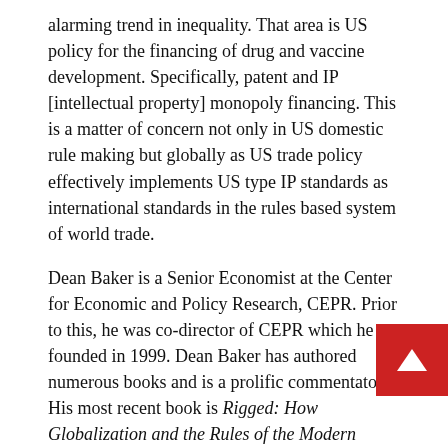alarming trend in inequality. That area is US policy for the financing of drug and vaccine development. Specifically, patent and IP [intellectual property] monopoly financing. This is a matter of concern not only in US domestic rule making but globally as US trade policy effectively implements US type IP standards as international standards in the rules based system of world trade.
Dean Baker is a Senior Economist at the Center for Economic and Policy Research, CEPR. Prior to this, he was co-director of CEPR which he co-founded in 1999. Dean Baker has authored numerous books and is a prolific commentator. His most recent book is Rigged: How Globalization and the Rules of the Modern Economy Were Structured to Make the Rich Richer. The renowned CEPR blog, Beat the Press is home to Dean Baker's commentary on economic reporting. Welcome Dean.
DEAN BAKER: Thanks for having me on.
FRIES: Let's open with some thoughts on inequality as a policy choice.